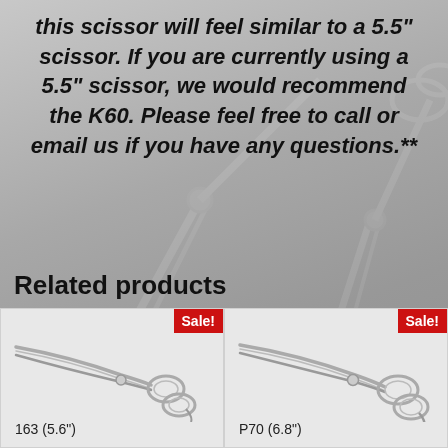this scissor will feel similar to a 5.5" scissor. If you are currently using a 5.5" scissor, we would recommend the K60. Please feel free to call or email us if you have any questions.**
[Figure (photo): Blurred background image of haircutting scissors on a surface]
Related products
[Figure (photo): Product image of 163 (5.6") haircutting scissors with Sale! badge]
[Figure (photo): Product image of P70 (6.8") haircutting scissors with Sale! badge]